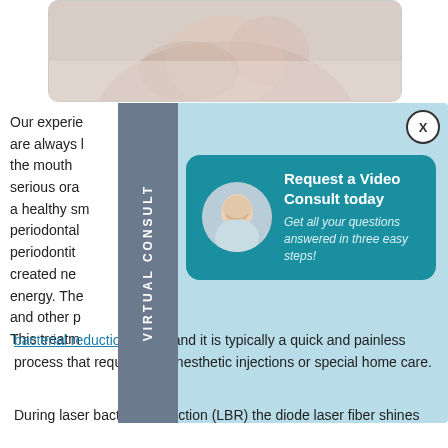[Figure (photo): Photo of a smiling woman lying down, partially cropped at top]
Our experienced team are always looking at the mouth to prevent serious oral issues. a healthy smile, periodontal health, periodontitis, created new energy. The and other p This treatm
[Figure (infographic): Virtual Consult modal overlay with sidebar tab labeled VIRTUAL CONSULT, and a card with avatar photo. Card reads: Request a Video Consult today. Get all your questions answered in three easy steps!]
bacterial reduction (LBR) and it is typically a quick and painless process that requires no anesthetic injections or special home care.
During laser bacterial reduction (LBR) the diode laser fiber shines